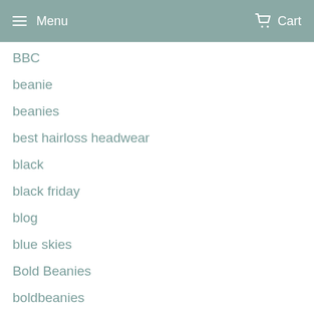Menu  Cart
BBC
beanie
beanies
best hairloss headwear
black
black friday
blog
blue skies
Bold Beanies
boldbeanies
bone
boobs
book
bouquet
bowel cancer